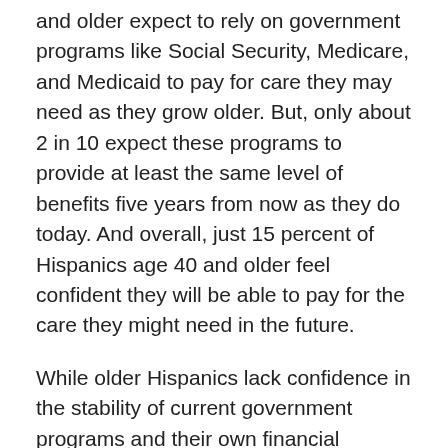and older expect to rely on government programs like Social Security, Medicare, and Medicaid to pay for care they may need as they grow older. But, only about 2 in 10 expect these programs to provide at least the same level of benefits five years from now as they do today. And overall, just 15 percent of Hispanics age 40 and older feel confident they will be able to pay for the care they might need in the future.
While older Hispanics lack confidence in the stability of current government programs and their own financial preparedness, support is high for new proposals like the ability to get long-term care coverage through Medicare Advantage, tax breaks for those who provide care, paid family leave, and a government-administered long-term care insurance program.
The survey also finds an openness to the use of telemedicine for services like medical consultations,